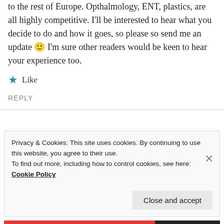to the rest of Europe. Opthalmology, ENT, plastics, are all highly competitive. I'll be interested to hear what you decide to do and how it goes, so please so send me an update 🙂 I'm sure other readers would be keen to hear your experience too.
★ Like
REPLY
Privacy & Cookies: This site uses cookies. By continuing to use this website, you agree to their use.
To find out more, including how to control cookies, see here: Cookie Policy
Close and accept